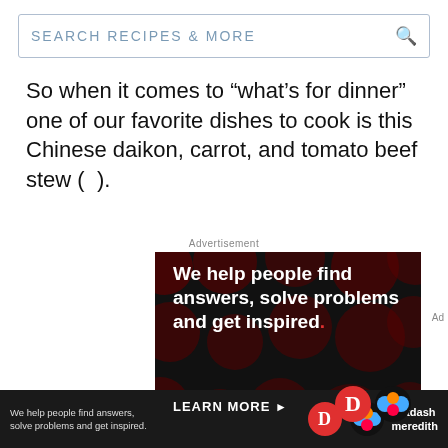[Figure (screenshot): Search bar with text SEARCH RECIPES & MORE and a search icon on the right]
So when it comes to “what’s for dinner” one of our favorite dishes to cook is this Chinese daikon, carrot, and tomato beef stew ( ).
Advertisement
[Figure (screenshot): Dark advertisement banner with red polka dot background. Bold white text reads: We help people find answers, solve problems and get inspired. with a red period. Below: LEARN MORE with arrow and logos on right side.]
[Figure (screenshot): Bottom dark bar: We help people find answers, solve problems and get inspired. with D logo and Dotdash meredith logo]